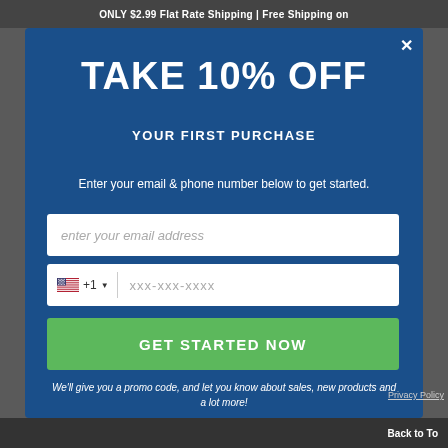ONLY $2.99 Flat Rate Shipping | Free Shipping on
TAKE 10% OFF
YOUR FIRST PURCHASE
Enter your email & phone number below to get started.
enter your email address
+1   xxx-xxx-xxxx
GET STARTED NOW
We'll give you a promo code, and let you know about sales, new products and a lot more!
Privacy Policy
Back to Top